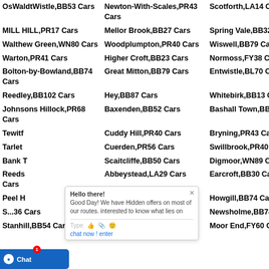OsWaldtWistle,BB53 Cars
Newton-With-Scales,PR43 Cars
Scotforth,LA14 Cars
Me...
MILL HILL,PR17 Cars
Mellor Brook,BB27 Cars
Spring Vale,BB32 Cars
W...
Walthew Green,WN80 Cars
Woodplumpton,PR40 Cars
Wiswell,BB79 Cars
Sh...
Warton,PR41 Cars
Higher Croft,BB23 Cars
Normoss,FY38 Cars
Lo...
Bolton-by-Bowland,BB74 Cars
Great Mitton,BB79 Cars
Entwistle,BL70 Cars
Els...
Reedley,BB102 Cars
Hey,BB87 Cars
Whitebirk,BB13 Cars
Wa...
Johnsons Hillock,PR68 Cars
Baxenden,BB52 Cars
Bashall Town,BB73 Cars
Bil...
Tewitf...
Cuddy Hill,PR40 Cars
Bryning,PR43 Cars
Bu...
Tarlet...
Cuerden,PR56 Cars
Swillbrook,PR40 Cars
As...
Bank T...
Scaitcliffe,BB50 Cars
Digmoor,WN89 Cars
So...
Reeds... Cars
Abbeystead,LA29 Cars
Earcroft,BB30 Cars
Me...
Peel H...
Roach Bridge,PR50 Cars
Howgill,BB74 Cars
Pa...
S...36 Cars
Norden,BB14 Cars
Newsholme,BB74 Cars
No...
Stanhill,BB54 Cars
Darwen,BB31 Cars
Moor End,FY60 Cars
Pil...